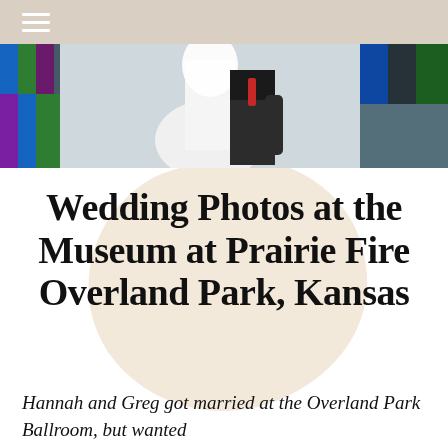[Figure (photo): Wedding couple embracing outdoors near colorful building panels. Bride in white dress and groom in dark suit.]
Wedding Photos at the Museum at Prairie Fire Overland Park, Kansas
Hannah and Greg got married at the Overland Park Ballroom, but wanted